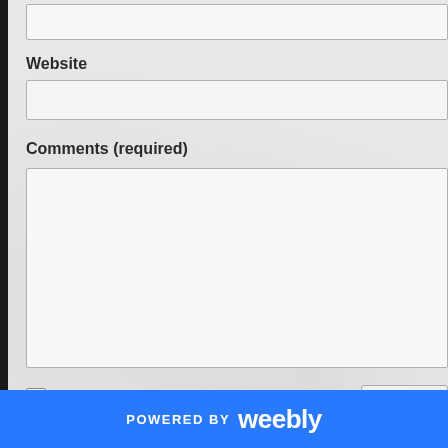[Figure (screenshot): Partial view of a web comment form showing a top text input (partially visible), a Website label with input field, a Comments (required) label with large textarea, a checkbox row saying 'Notify me of new comments to this post by email' with a partially visible Submit button, all on a light gray textured background with a left black border. A blue Weebly-powered footer bar appears at the bottom.]
Website
Comments (required)
Notify me of new comments to this post by email
POWERED BY weebly